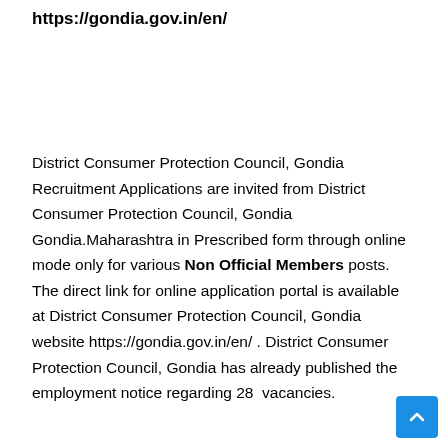https://gondia.gov.in/en/
District Consumer Protection Council, Gondia Recruitment Applications are invited from District Consumer Protection Council, Gondia Gondia.Maharashtra in Prescribed form through online mode only for various Non Official Members posts. The direct link for online application portal is available at District Consumer Protection Council, Gondia website https://gondia.gov.in/en/ . District Consumer Protection Council, Gondia has already published the employment notice regarding 28 vacancies.